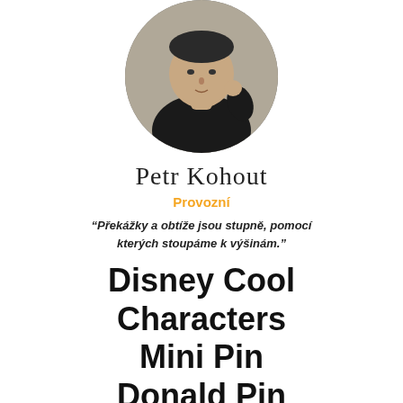[Figure (photo): Circular portrait photo of a middle-aged man wearing a black shirt, with a blurred background]
Petr Kohout
Provozní
"Překážky a obtíže jsou stupně, pomocí kterých stoupáme k výšinám."
Disney Cool Characters Mini Pin Donald Pin UG:89353